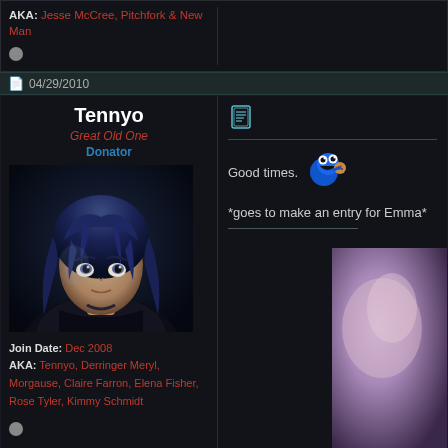AKA: Jesse McCree, Pitchfork & New Man
04/29/2010
Tennyo
Great Old One
Donator
[Figure (photo): Avatar image of anime-style character with dark blue hair looking upward, dark background]
Join Date: Dec 2008
AKA: Tennyo, Derringer Meryl, Morgause, Claire Farron, Elena Fisher, Rose Tyler, Kimmy Schmidt
[Figure (infographic): Forum post icon (document/scroll icon in teal)]
Good times.
[Figure (illustration): Blue Cookie Monster pixel art emoji/emoticon]
*goes to make an entry for Emma*
[Figure (photo): Partial avatar thumbnail showing blurry purple/lavender tones, right side of page]
04/29/2010